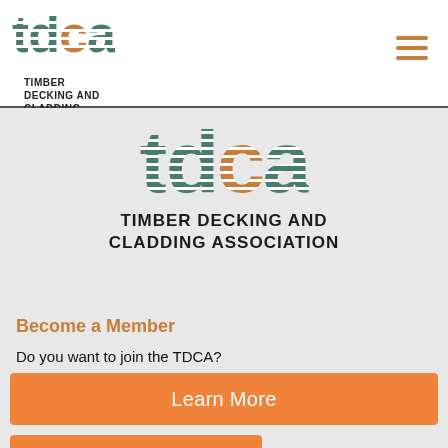[Figure (logo): TDCA logo with striped letters in green and orange, top-left header. Text below reads TIMBER DECKING AND CLADDING ASSOCIATION]
[Figure (logo): Large TDCA logo centered in gray area with striped letters, green and orange. Below reads TIMBER DECKING AND CLADDING ASSOCIATION]
Become a Member
Do you want to join the TDCA?
[Figure (other): Orange button labeled Learn More]
[Figure (other): Partial orange card preview at bottom showing TDCA logo]